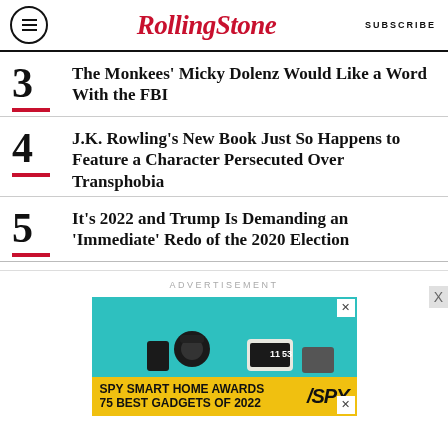RollingStone | SUBSCRIBE
3 The Monkees' Micky Dolenz Would Like a Word With the FBI
4 J.K. Rowling's New Book Just So Happens to Feature a Character Persecuted Over Transphobia
5 It's 2022 and Trump Is Demanding an 'Immediate' Redo of the 2020 Election
ADVERTISEMENT
[Figure (photo): Advertisement banner for SPY Smart Home Awards - 75 Best Gadgets of 2022, showing smart home devices on teal background with yellow bar at bottom]